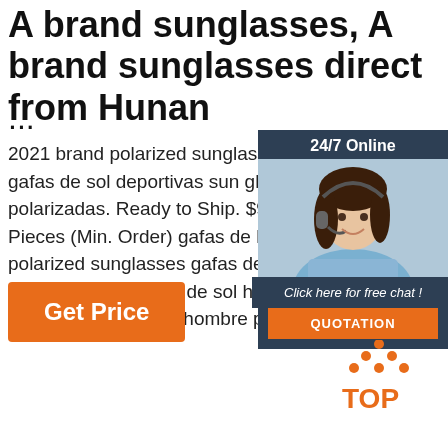A brand sunglasses, A brand sunglasses direct from Hunan
...
2021 brand polarized sunglasses men gafas de sol deportivas sun glasses gafas polarizadas. Ready to Ship. $9.50 - $11.8 Pieces (Min. Order) gafas de lujos 2021 polarized sunglasses gafas de sol polariza marco de metal gafa de sol hombre wome logo gafas de sol de hombre pilot ...
[Figure (photo): Customer service chat widget with woman wearing headset, 24/7 Online label, Click here for free chat text, and orange QUOTATION button]
[Figure (illustration): Orange Get Price button]
[Figure (logo): TOP icon with orange dots arranged in triangle above orange TOP text]